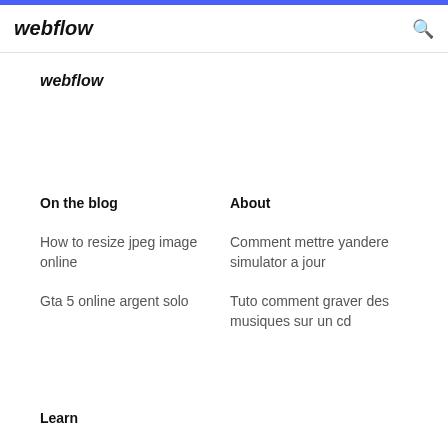webflow
webflow
On the blog
About
How to resize jpeg image online
Comment mettre yandere simulator a jour
Gta 5 online argent solo
Tuto comment graver des musiques sur un cd
Learn